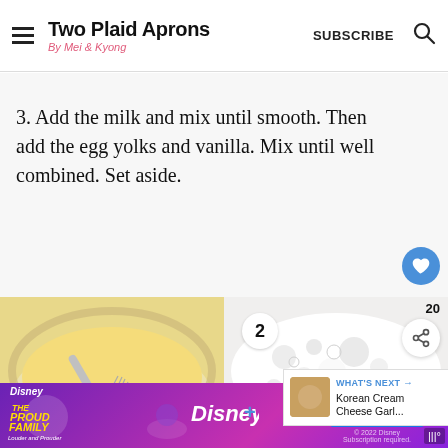Two Plaid Aprons — By Mei & Kyong — SUBSCRIBE
3. Add the milk and mix until smooth. Then add the egg yolks and vanilla. Mix until well combined. Set aside.
[Figure (photo): A glass bowl with yellow custard batter and a whisk, step 1 of recipe]
[Figure (photo): A bowl with frothy white foamy milk or cream, labeled step 2 of recipe]
Disney The Proud Family advertisement — Disney+ Now Streaming — Sign Up Now — © 2022 Disney Subscription required